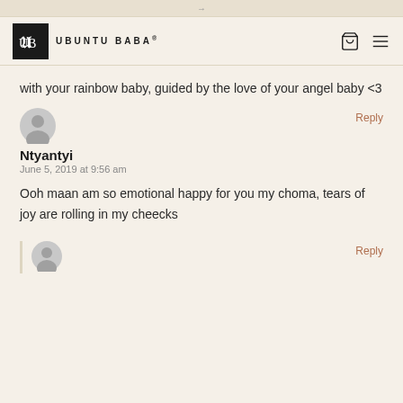→
[Figure (logo): Ubuntu Baba logo — black square with UB monogram and brand name text]
with your rainbow baby, guided by the love of your angel baby <3
Reply
[Figure (photo): Default grey user avatar circle icon]
Ntyantyi
June 5, 2019 at 9:56 am
Ooh maan am so emotional happy for you my choma, tears of joy are rolling in my cheecks
Reply
[Figure (photo): Partial default grey user avatar circle icon at bottom]